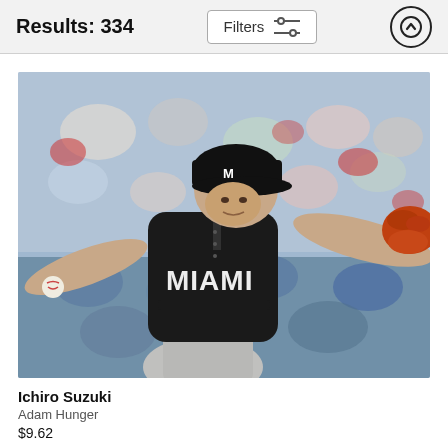Results: 334
[Figure (photo): Baseball player Ichiro Suzuki in a Miami Marlins black jersey pitching a baseball, with a crowd in the background. He wears a black cap and an orange/red glove.]
Ichiro Suzuki
Adam Hunger
$9.62